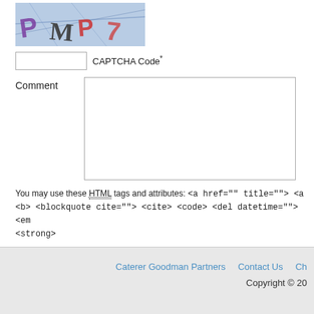[Figure (photo): CAPTCHA image with letters P, M, P, 7 on a blue/gray background]
CAPTCHA Code*
Comment
You may use these HTML tags and attributes: <a href="" title=""> <a <b> <blockquote cite=""> <cite> <code> <del datetime=""> <em <strong>
Post Comment
Caterer Goodman Partners   Contact Us   Ch   Copyright © 20